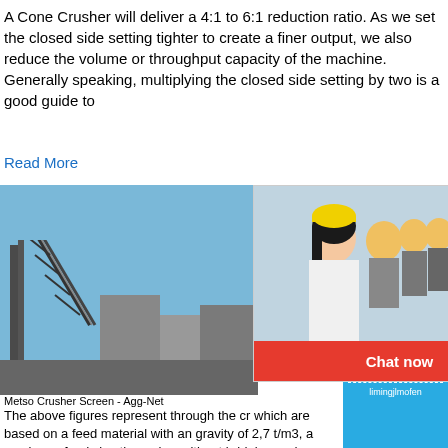A Cone Crusher will deliver a 4:1 to 6:1 reduction ratio. As we set the closed side setting tighter to create a finer output, we also reduce the volume or throughput capacity of the machine. Generally speaking, multiplying the closed side setting by two is a good guide to
Read More
[Figure (screenshot): Live chat popup overlay on industrial/mining website showing workers in hard hats, LIVE CHAT header text in red, 'Click for a Free Consultation' subtext, Chat now (red) and Chat later (dark) buttons, with industrial machinery background on the left and a blue sidebar on the right showing a crusher machine image, 'Click me to chat>>' button, 'Enquiry' label, and 'limingjlmofen' text.]
Metso Crusher Screen - Agg-Net
The above figures represent through the cr which are based on a feed material with an gravity of 2,7 t/m3, a maximum feed size th crusher without bridging and material finer closed side setting removed.
Read More